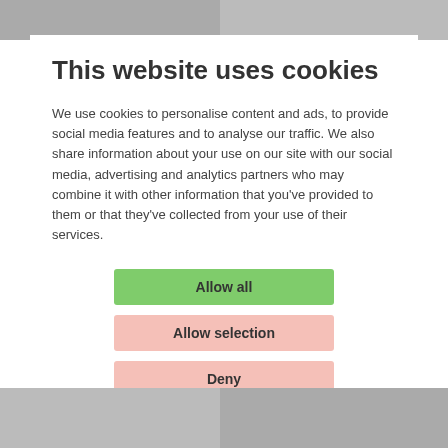[Figure (photo): Top strip showing partially visible images behind the cookie consent modal]
This website uses cookies
We use cookies to personalise content and ads, to provide social media features and to analyse our traffic. We also share information about your use on our site with our social media, advertising and analytics partners who may combine it with other information that you've provided to them or that they've collected from your use of their services.
Allow all
Allow selection
Deny
| ☑ Necessary | ☐ Preferences | ☐ Statistics | Show details ▾ |
| ☐ Marketing |  |  |  |
[Figure (photo): Bottom strip showing partially visible images below the cookie consent modal]